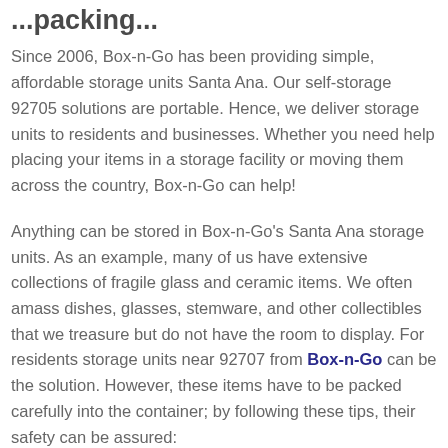...packing...
Since 2006, Box-n-Go has been providing simple, affordable storage units Santa Ana. Our self-storage 92705 solutions are portable. Hence, we deliver storage units to residents and businesses. Whether you need help placing your items in a storage facility or moving them across the country, Box-n-Go can help!
Anything can be stored in Box-n-Go's Santa Ana storage units. As an example, many of us have extensive collections of fragile glass and ceramic items. We often amass dishes, glasses, stemware, and other collectibles that we treasure but do not have the room to display. For residents storage units near 92707 from Box-n-Go can be the solution. However, these items have to be packed carefully into the container; by following these tips, their safety can be assured:
Start with a layer of packing material such as bubble wrap,